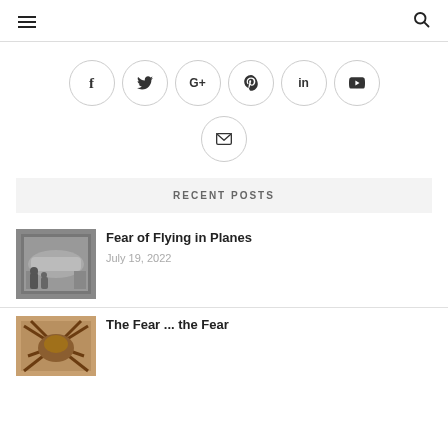Navigation header with hamburger menu and search icon
[Figure (infographic): Row of social media icon buttons in circles: Facebook, Twitter, Google+, Pinterest, LinkedIn, YouTube, and Email]
RECENT POSTS
[Figure (photo): Black and white photo of people near a small aircraft with text 'FLYING SCHOOL' visible]
Fear of Flying in Planes
July 19, 2022
[Figure (photo): Close-up photo of a spider]
The Fear ... the Fear